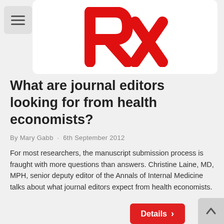[Figure (logo): Rx logo in red on white card background]
What are journal editors looking for from health economists?
By Mary Gabb · 6th September 2012
For most researchers, the manuscript submission process is fraught with more questions than answers. Christine Laine, MD, MPH, senior deputy editor of the Annals of Internal Medicine talks about what journal editors expect from health economists.